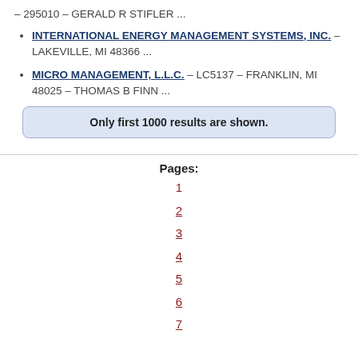– 295010 – GERALD R STIFLER ...
INTERNATIONAL ENERGY MANAGEMENT SYSTEMS, INC. – LAKEVILLE, MI 48366 ...
MICRO MANAGEMENT, L.L.C. – LC5137 – FRANKLIN, MI 48025 – THOMAS B FINN ...
Only first 1000 results are shown.
Pages:
1
2
3
4
5
6
7